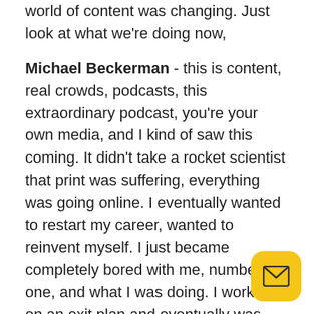world of content was changing. Just look at what we're doing now,
Michael Beckerman - this is content, real crowds, podcasts, this extraordinary podcast, you're your own media, and I kind of saw this coming. It didn't take a rocket scientist that print was suffering, everything was going online. I eventually wanted to restart my career, wanted to reinvent myself. I just became completely bored with me, number one, and what I was doing. I worked on an exit plan and eventually was able to exit the agency. I wanted to go into something that I knew nothing about, that felt like real estate PR, 25-30 years ago. What wasn't happening in our industry? What wasn't anybody doing? That was in technology so, I migrated from the PR world. My first foray in this s was a site called The News Funnel, which is a con aggregator, it's the largest in the industry, so that was